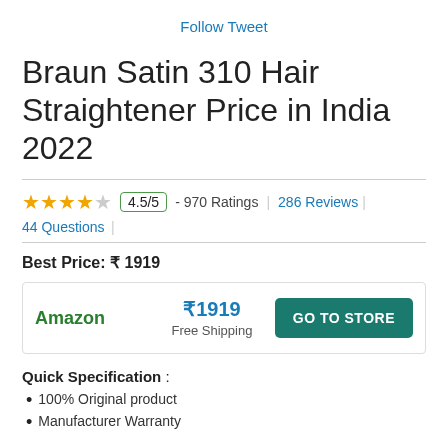Follow Tweet
Braun Satin 310 Hair Straightener Price in India 2022
4.5/5 - 970 Ratings | 286 Reviews | 44 Questions
Best Price: ₹ 1919
| Store | Price | Action |
| --- | --- | --- |
| Amazon | ₹1919 Free Shipping | GO TO STORE |
Quick Specification :
100% Original product
Manufacturer Warranty